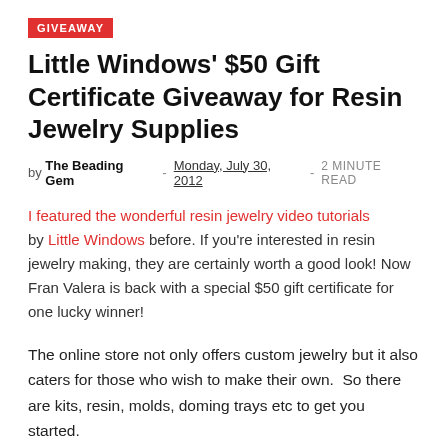GIVEAWAY
Little Windows' $50 Gift Certificate Giveaway for Resin Jewelry Supplies
by The Beading Gem - Monday, July 30, 2012 - 2 MINUTE READ
I featured the wonderful resin jewelry video tutorials by Little Windows before. If you're interested in resin jewelry making, they are certainly worth a good look! Now Fran Valera is back with a special $50 gift certificate for one lucky winner!
The online store not only offers custom jewelry but it also caters for those who wish to make their own.  So there are kits, resin, molds, doming trays etc to get you started.